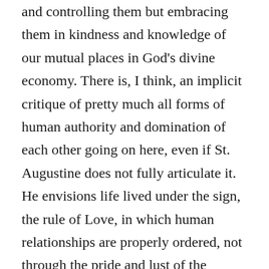and controlling them but embracing them in kindness and knowledge of our mutual places in God's divine economy. There is, I think, an implicit critique of pretty much all forms of human authority and domination of each other going on here, even if St. Augustine does not fully articulate it. He envisions life lived under the sign, the rule of Love, in which human relationships are properly ordered, not through the pride and lust of the powerful and dominating (or ourselves attempting to be powerful and dominating), but through a love-centered orientation towards God. Even the task of exegesis, as he argues at the beginning of this work, is a love-centered task. The very existence of exegesis forms community, as we need each other to truly